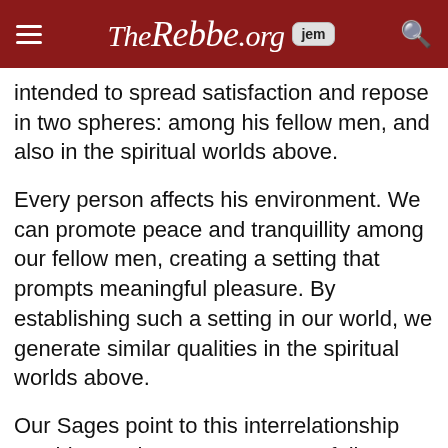TheRebbe.org [jem]
intended to spread satisfaction and repose in two spheres: among his fellow men, and also in the spiritual worlds above.
Every person affects his environment. We can promote peace and tranquillity among our fellow men, creating a setting that prompts meaningful pleasure. By establishing such a setting in our world, we generate similar qualities in the spiritual worlds above.
Our Sages point to this interrelationship teaching: “Whenever a person’s fellowmen derive satisfaction from him, G-d derives satisfaction from him.”
Did Noah live up to his potential? Our Sages explain